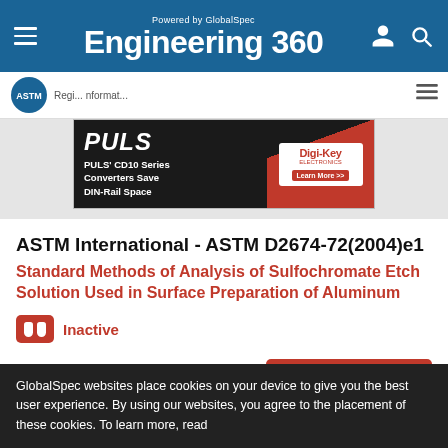Powered by GlobalSpec Engineering 360
[Figure (screenshot): PULS CD10 Series Converters Save DIN-Rail Space advertisement banner with Digi-Key branding]
ASTM International - ASTM D2674-72(2004)e1
Standard Methods of Analysis of Sulfochromate Etch Solution Used in Surface Preparation of Aluminum
Inactive
BUY NOW
GlobalSpec websites place cookies on your device to give you the best user experience. By using our websites, you agree to the placement of these cookies. To learn more, read